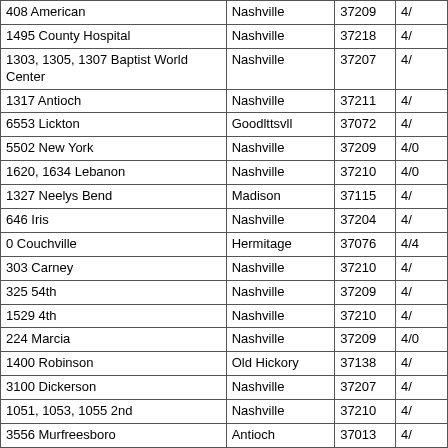| Address | City | ZIP | Date |
| --- | --- | --- | --- |
| 408 American | Nashville | 37209 | 4/... |
| 1495 County Hospital | Nashville | 37218 | 4/... |
| 1303, 1305, 1307 Baptist World Center | Nashville | 37207 | 4/... |
| 1317 Antioch | Nashville | 37211 | 4/... |
| 6553 Lickton | Goodlttsvll | 37072 | 4/... |
| 5502 New York | Nashville | 37209 | 4/0 |
| 1620, 1634 Lebanon | Nashville | 37210 | 4/0 |
| 1327 Neelys Bend | Madison | 37115 | 4/... |
| 646 Iris | Nashville | 37204 | 4/... |
| 0 Couchville | Hermitage | 37076 | 4/4 |
| 303 Carney | Nashville | 37210 | 4/... |
| 325 54th | Nashville | 37209 | 4/... |
| 1529 4th | Nashville | 37210 | 4/... |
| 224 Marcia | Nashville | 37209 | 4/0 |
| 1400 Robinson | Old Hickory | 37138 | 4/... |
| 3100 Dickerson | Nashville | 37207 | 4/... |
| 1051, 1053, 1055 2nd | Nashville | 37210 | 4/... |
| 3556 Murfreesboro | Antioch | 37013 | 4/... |
| 6749 Holt | Nashville | 37211 | 4/... |
| 1506 Dickerson | Nashville | 37207 | 4/... |
| 4401 Alabama | Nashville | 37209 | 4/... |
| 3501 Park | Nashville | 37209 | 4/... |
| 550 Rosedale | Nashville | 37211 | 4/... |